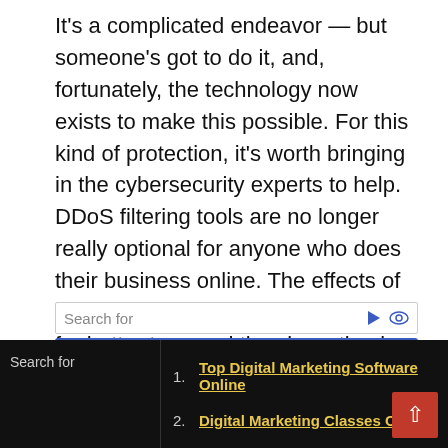It's a complicated endeavor — but someone's got to do it, and, fortunately, the technology now exists to make this possible. For this kind of protection, it's worth bringing in the cybersecurity experts to help. DDoS filtering tools are no longer really optional for anyone who does their business online. The effects of a DDoS attack can be crippling. It's far better to spend time investing in the right defenses in advance, so the question of how your business can recover after suffering a terrible DDoS attack is one that you never have to ask.
Search for
[Figure (infographic): Blue advertisement bar with green circle numbered 1 and text: Top Digital Marketing Software Online]
Search for
1. Top Digital Marketing Software Online
2. Digital Marketing Classes Online